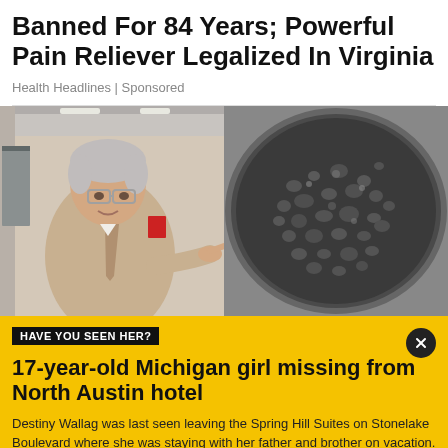Banned For 84 Years; Powerful Pain Reliever Legalized In Virginia
Health Headlines | Sponsored
[Figure (photo): Split composite photo: left side shows an older man with gray hair and glasses in a suit pointing toward camera in a hospital hallway; right side shows what appears to be a close-up of bubbling or granular dark substance in a pan.]
HAVE YOU SEEN HER?
17-year-old Michigan girl missing from North Austin hotel
Destiny Wallag was last seen leaving the Spring Hill Suites on Stonelake Boulevard where she was staying with her father and brother on vacation.